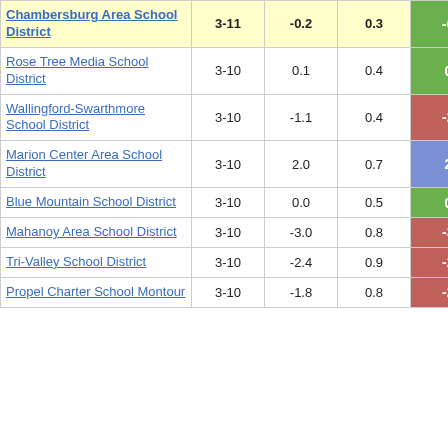| District | Grades | Col3 | Col4 | Score |
| --- | --- | --- | --- | --- |
| Chambersburg Area School District | 3-11 | -0.2 | 0.3 | -0.63 |
| Rose Tree Media School District | 3-10 | 0.1 | 0.4 | 0.29 |
| Wallingford-Swarthmore School District | 3-10 | -1.1 | 0.4 | -2.53 |
| Marion Center Area School District | 3-10 | 2.0 | 0.7 | 2.95 |
| Blue Mountain School District | 3-10 | 0.0 | 0.5 | 0.07 |
| Mahanoy Area School District | 3-10 | -3.0 | 0.8 | -3.61 |
| Tri-Valley School District | 3-10 | -2.4 | 0.9 | -2.75 |
| Propel Charter School Montour | 3-10 | -1.8 | 0.8 | -2.37 |